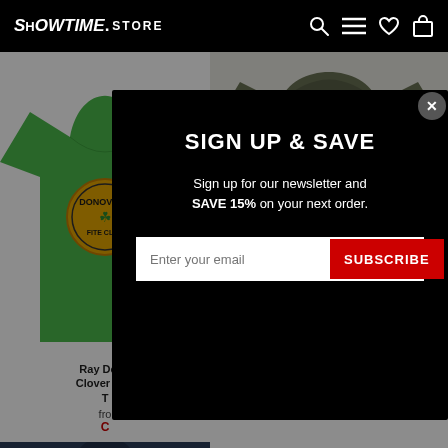SHOWTIME STORE
[Figure (screenshot): Green Donovans Fight Club t-shirt product image on left; olive green hoodie product on right]
Ray Dono Clover Adu T
from
LONG
[Figure (screenshot): Email signup popup modal with black background on the Showtime Store website. Title: SIGN UP & SAVE. Body: Sign up for our newsletter and SAVE 15% on your next order. Email input field with SUBSCRIBE button.]
SIGN UP & SAVE
Sign up for our newsletter and SAVE 15% on your next order.
Enter your email
SUBSCRIBE